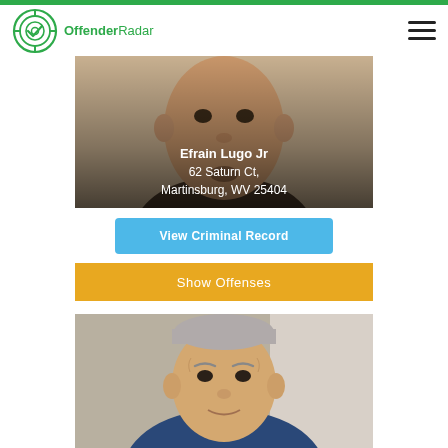OffenderRadar
[Figure (photo): Mugshot of Efrain Lugo Jr, male, close-up face photo with text overlay showing name and address]
Efrain Lugo Jr
62 Saturn Ct,
Martinsburg, WV 25404
View Criminal Record
Show Offenses
[Figure (photo): Mugshot of a second male offender, older white male with short gray hair]